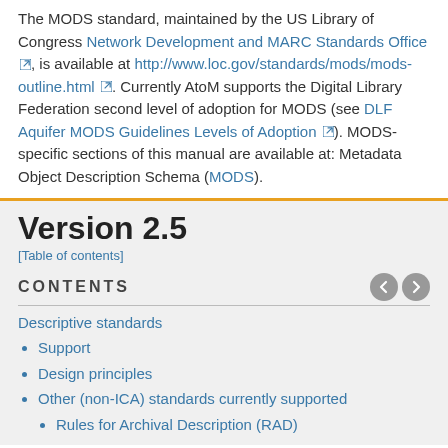The MODS standard, maintained by the US Library of Congress Network Development and MARC Standards Office, is available at http://www.loc.gov/standards/mods/mods-outline.html. Currently AtoM supports the Digital Library Federation second level of adoption for MODS (see DLF Aquifer MODS Guidelines Levels of Adoption). MODS- specific sections of this manual are available at: Metadata Object Description Schema (MODS).
Version 2.5
[Table of contents]
CONTENTS
Descriptive standards
Support
Design principles
Other (non-ICA) standards currently supported
Rules for Archival Description (RAD)